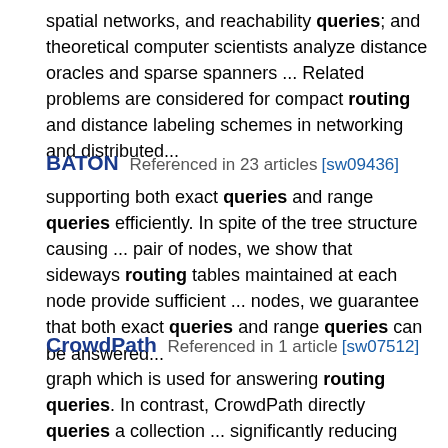spatial networks, and reachability queries; and theoretical computer scientists analyze distance oracles and sparse spanners ... Related problems are considered for compact routing and distance labeling schemes in networking and distributed...
BATON  Referenced in 23 articles [sw09436]
supporting both exact queries and range queries efficiently. In spite of the tree structure causing ... pair of nodes, we show that sideways routing tables maintained at each node provide sufficient ... nodes, we guarantee that both exact queries and range queries can be answered...
CrowdPath  Referenced in 1 article [sw07512]
graph which is used for answering routing queries. In contrast, CrowdPath directly queries a collection ... significantly reducing travel time compared to routes from common routing providers. In the future, CrowdPath...